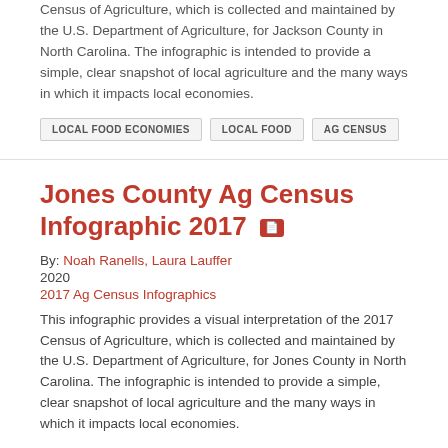Census of Agriculture, which is collected and maintained by the U.S. Department of Agriculture, for Jackson County in North Carolina. The infographic is intended to provide a simple, clear snapshot of local agriculture and the many ways in which it impacts local economies.
LOCAL FOOD ECONOMIES
LOCAL FOOD
AG CENSUS
Jones County Ag Census Infographic 2017
By: Noah Ranells, Laura Lauffer
2020
2017 Ag Census Infographics
This infographic provides a visual interpretation of the 2017 Census of Agriculture, which is collected and maintained by the U.S. Department of Agriculture, for Jones County in North Carolina. The infographic is intended to provide a simple, clear snapshot of local agriculture and the many ways in which it impacts local economies.
LOCAL FOOD ECONOMIES
LOCAL FOOD
AG CENSUS